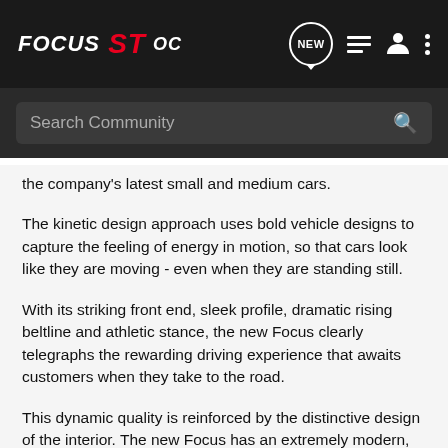FOCUS ST OC — Navigation bar with NEW, list, profile, and menu icons
Search Community
the company's latest small and medium cars.
The kinetic design approach uses bold vehicle designs to capture the feeling of energy in motion, so that cars look like they are moving - even when they are standing still.
With its striking front end, sleek profile, dramatic rising beltline and athletic stance, the new Focus clearly telegraphs the rewarding driving experience that awaits customers when they take to the road.
This dynamic quality is reinforced by the distinctive design of the interior. The new Focus has an extremely modern, ****pit-style interior, with the stylish center console wrapped around the driver and providing outstanding access to the vehicle's major controls and display panels.